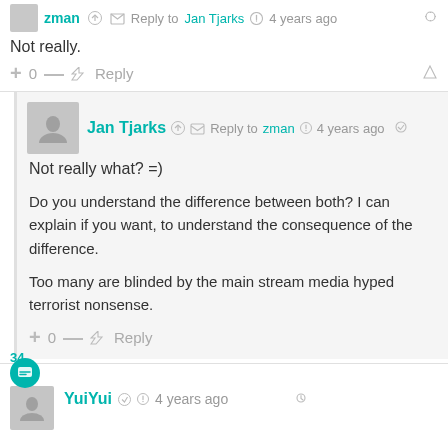zman  Reply to  Jan Tjarks  4 years ago
Not really.
+ 0 —   Reply
Jan Tjarks  Reply to  zman  4 years ago
Not really what? =)
Do you understand the difference between both? I can explain if you want, to understand the consequence of the difference.
Too many are blinded by the main stream media hyped terrorist nonsense.
+ 0 —   Reply
34
YuiYui  4 years ago